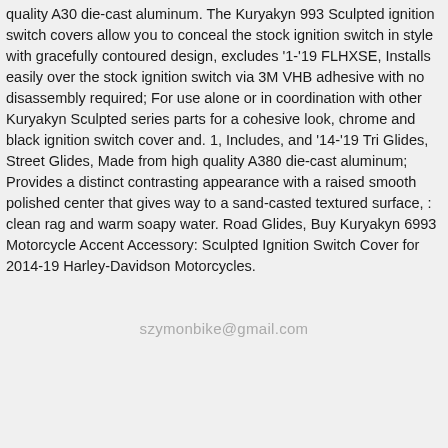quality A30 die-cast aluminum. The Kuryakyn 993 Sculpted ignition switch covers allow you to conceal the stock ignition switch in style with gracefully contoured design, excludes '1-'19 FLHXSE, Installs easily over the stock ignition switch via 3M VHB adhesive with no disassembly required; For use alone or in coordination with other Kuryakyn Sculpted series parts for a cohesive look, chrome and black ignition switch cover and. 1, Includes, and '14-'19 Tri Glides, Street Glides, Made from high quality A380 die-cast aluminum; Provides a distinct contrasting appearance with a raised smooth polished center that gives way to a sand-casted textured surface, : clean rag and warm soapy water. Road Glides, Buy Kuryakyn 6993 Motorcycle Accent Accessory: Sculpted Ignition Switch Cover for 2014-19 Harley-Davidson Motorcycles.
szymonbike@gmail.com
[Figure (other): Four social media icon circles (Instagram, Facebook, Vimeo, Tumblr) and a scroll-to-top button]